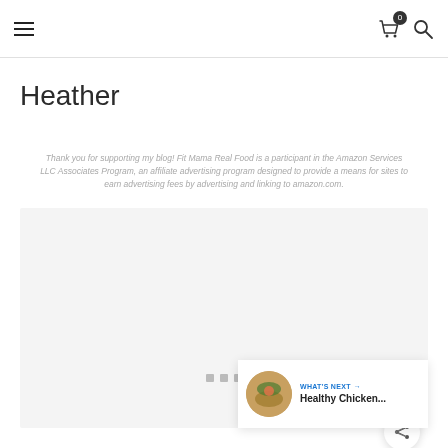Navigation header with hamburger menu, cart icon with badge 0, and search icon
Heather
Thank you for supporting my blog! Fit Mama Real Food is a participant in the Amazon Services LLC Associates Program, an affiliate advertising program designed to provide a means for sites to earn advertising fees by advertising and linking to amazon.com.
[Figure (photo): Large light gray placeholder image area with three navigation dots at the bottom]
WHAT'S NEXT → Healthy Chicken...